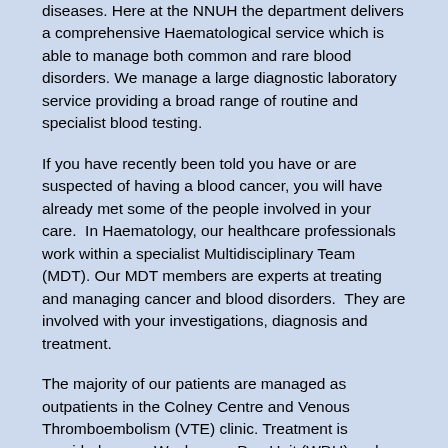diseases. Here at the NNUH the department delivers a comprehensive Haematological service which is able to manage both common and rare blood disorders. We manage a large diagnostic laboratory service providing a broad range of routine and specialist blood testing.
If you have recently been told you have or are suspected of having a blood cancer, you will have already met some of the people involved in your care.  In Haematology, our healthcare professionals work within a specialist Multidisciplinary Team (MDT). Our MDT members are experts at treating and managing cancer and blood disorders.  They are involved with your investigations, diagnosis and treatment.
The majority of our patients are managed as outpatients in the Colney Centre and Venous Thromboembolism (VTE) clinic. Treatment is provided on our Weybourne Day Unit (WDU) and Aylsham Medical Day Unit (AMDU).
Usually our inpatients are managed on the